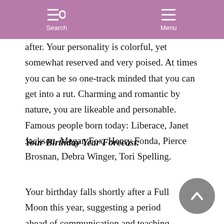Search  Menu
after. Your personality is colorful, yet somewhat reserved and very poised. At times you can be so one-track minded that you can get into a rut. Charming and romantic by nature, you are likeable and personable. Famous people born today: Liberace, Janet Jackson, Megan Fox, Henry Fonda, Pierce Brosnan, Debra Winger, Tori Spelling.
Your Birthday Year Forecast:
Your birthday falls shortly after a Full Moon this year, suggesting a period ahead of communication and teaching.